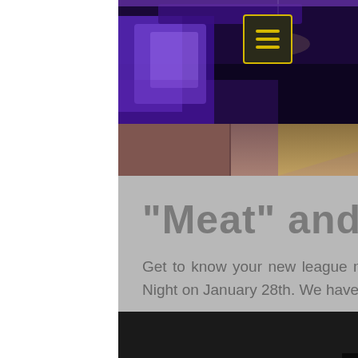[Figure (photo): Bowling alley lane with purple/blue neon lighting and a bowling ball in the foreground, with pins visible in the background]
"Meat" and Greet
Get to know your new league mates before you officially join SPRD at Recruitment Night on January 28th. We have 2 events coming...
[Figure (photo): Partial view of a large orange/golden circular shape (sunset or moon) with silhouettes at the bottom, black background]